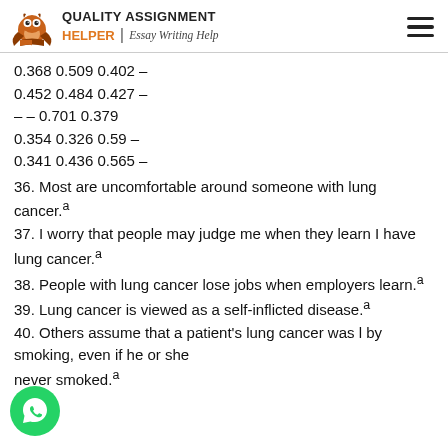QUALITY ASSIGNMENT HELPER | Essay Writing Help
0.368 0.509 0.402 –
0.452 0.484 0.427 –
– – 0.701 0.379
0.354 0.326 0.59 –
0.341 0.436 0.565 –
36. Most are uncomfortable around someone with lung cancer.a
37. I worry that people may judge me when they learn I have lung cancer.a
38. People with lung cancer lose jobs when employers learn.a
39. Lung cancer is viewed as a self-inflicted disease.a
40. Others assume that a patient's lung cancer was caused by smoking, even if he or she never smoked.a